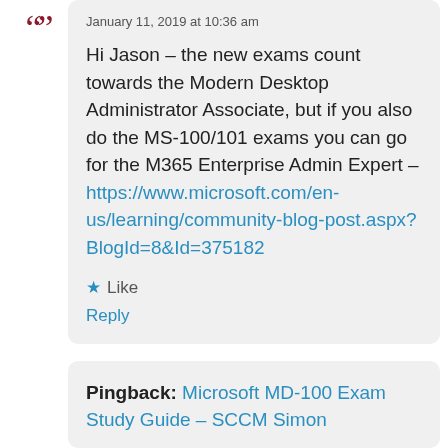January 11, 2019 at 10:36 am
Hi Jason – the new exams count towards the Modern Desktop Administrator Associate, but if you also do the MS-100/101 exams you can go for the M365 Enterprise Admin Expert – https://www.microsoft.com/en-us/learning/community-blog-post.aspx?BlogId=8&Id=375182
★ Like
Reply
Pingback: Microsoft MD-100 Exam Study Guide – SCCM Simon